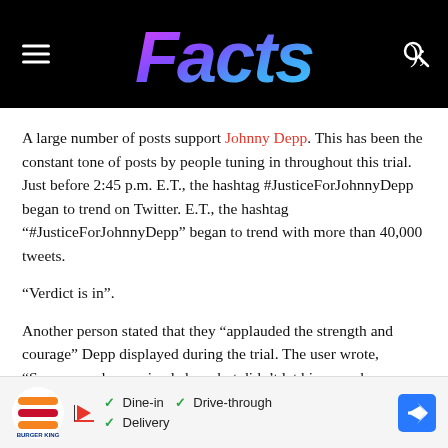Facts (website header with logo)
A large number of posts support Johnny Depp. This has been the constant tone of posts by people tuning in throughout this trial. Just before 2:45 p.m. E.T., the hashtag #JusticeForJohnnyDepp began to trend on Twitter. E.T., the hashtag “#JusticeForJohnnyDepp” began to trend with more than 40,000 tweets.
“Verdict is in”.
Another person stated that they “applauded the strength and courage” Depp displayed during the trial. The user wrote, “Someone who survived abuse but didn’t let his name be tarnished
[Figure (other): Burger King advertisement banner: Dine-in, Drive-through, Delivery options with navigation arrow icon]